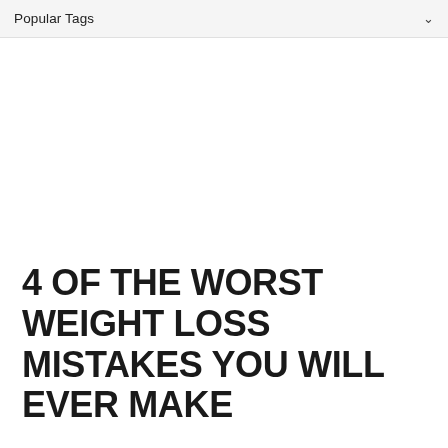Popular Tags
4 OF THE WORST WEIGHT LOSS MISTAKES YOU WILL EVER MAKE